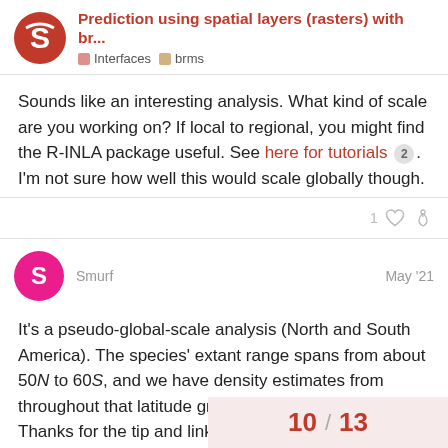Prediction using spatial layers (rasters) with br... | Interfaces | brms
Sounds like an interesting analysis. What kind of scale are you working on? If local to regional, you might find the R-INLA package useful. See here for tutorials 2 . I'm not sure how well this would scale globally though.
Smurf  May '21
It's a pseudo-global-scale analysis (North and South America). The species' extant range spans from about 50N to 60S, and we have density estimates from throughout that latitude gradient. I'll checkout R-INLA. Thanks for the tip and links to tutorials.
10 / 13